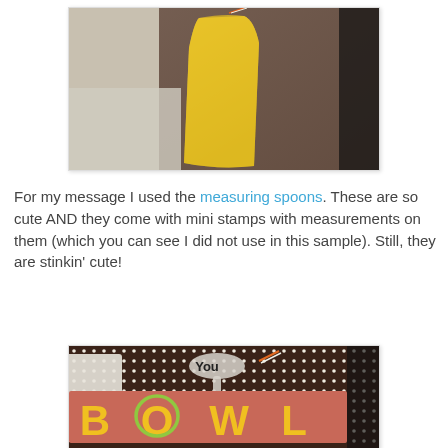[Figure (photo): Photo of a yellow paper pocket/bag craft item hanging, with brown patterned paper and a decorative orange/white twine tie visible at top, on a light background.]
For my message I used the measuring spoons. These are so cute AND they come with mini stamps with measurements on them (which you can see I did not use in this sample). Still, they are stinkin' cute!
[Figure (photo): Close-up photo of a craft/scrapbook card showing 'You BOWL' text on a brown polka-dot background with a salmon/pink banner. Letters are yellow with green outline. A white spoon shape is visible above.]